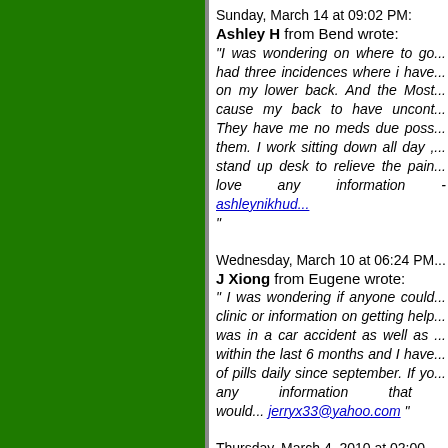Sunday, March 14 at 09:02 PM: Ashley H from Bend wrote: "I was wondering on where to go... had three incidences where i have... on my lower back. And the Most... cause my back to have uncont... They have me no meds due poss... them. I work sitting down all day ,... stand up desk to relieve the pain... love any information - ashleynikhud... "
Wednesday, March 10 at 06:24 PM... J Xiong from Eugene wrote: " I was wondering if anyone could... clinic or information on getting help... was in a car accident as well as ... within the last 6 months and I have... of pills daily since september. If yo... any information that would... jerryx33@yahoo.com "
Thursday, March 4, 2010 at 02:00 P... Michelle Whitney from event orga... "Planning a business event fo...